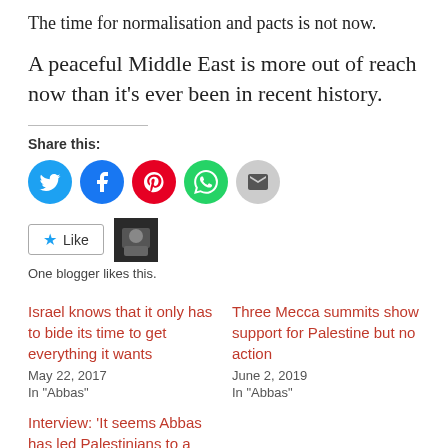The time for normalisation and pacts is not now.
A peaceful Middle East is more out of reach now than it’s ever been in recent history.
Share this:
[Figure (infographic): Social share buttons: Twitter (blue), Facebook (blue), Pinterest (red), WhatsApp (green), Email (gray)]
[Figure (infographic): Like button with star icon and a blogger avatar thumbnail. Text below: One blogger likes this.]
Israel knows that it only has to bide its time to get everything it wants
May 22, 2017
In "Abbas"
Three Mecca summits show support for Palestine but no action
June 2, 2019
In "Abbas"
Interview: ‘It seems Abbas has led Palestinians to a dead end’